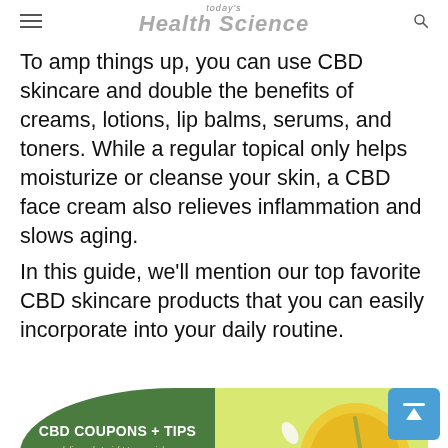today's Health Science
To amp things up, you can use CBD skincare and double the benefits of creams, lotions, lip balms, serums, and toners. While a regular topical only helps moisturize or cleanse your skin, a CBD face cream also relieves inflammation and slows aging.
In this guide, we'll mention our top favorite CBD skincare products that you can easily incorporate into your daily routine.
[Figure (infographic): CBD Coupons + Tips advertisement banner with green left panel and yellow-green right panel showing beauty/wellness products]
5 Skincare Tricks to Look Better in a Bikini
March 23, 2021